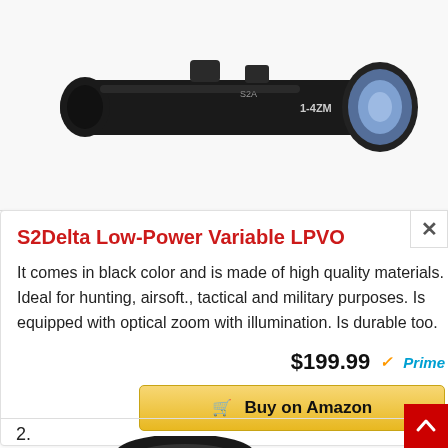[Figure (photo): Partial view of a black rifle scope (S2Delta Low-Power Variable LPVO) against a white background, showing the objective lens and body with blue-tinted lens.]
S2Delta Low-Power Variable LPVO
It comes in black color and is made of high quality materials. Ideal for hunting, airsoft., tactical and military purposes. Is equipped with optical zoom with illumination. Is durable too.
$199.99 ✓Prime
Buy on Amazon
2.
[Figure (photo): Partial view of a black scope or lens cap at the bottom of the page, product number 2 in the list.]